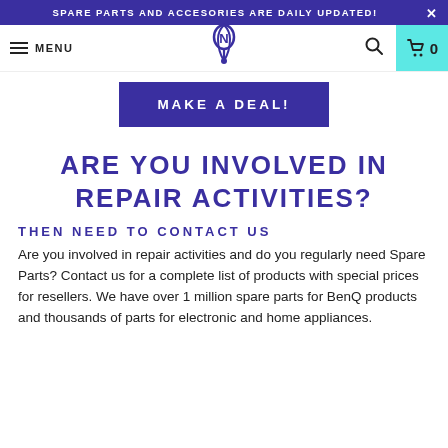SPARE PARTS AND ACCESORIES ARE DAILY UPDATED!
[Figure (logo): Website navigation bar with hamburger menu, MENU text, stylized N logo icon in center, search icon, and teal cart icon with 0]
[Figure (other): Dark blue/purple button reading MAKE A DEAL!]
ARE YOU INVOLVED IN REPAIR ACTIVITIES?
THEN NEED TO CONTACT US
Are you involved in repair activities and do you regularly need Spare Parts? Contact us for a complete list of products with special prices for resellers. We have over 1 million spare parts for BenQ products and thousands of parts for electronic and home appliances.